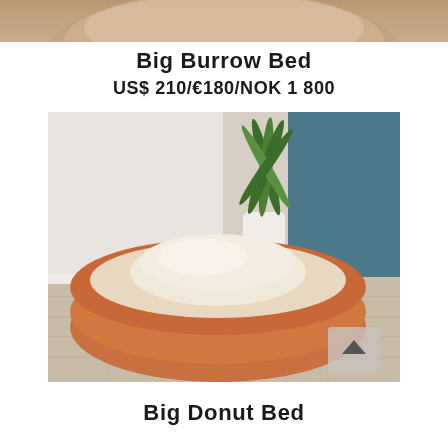[Figure (photo): Partial top image cropped from above — appears to be a close-up of a pet bed or similar product, warm brown/tan tones]
Big Burrow Bed
US$ 210/€180/NOK 1 800
[Figure (photo): Round pet donut bed with orange/terracotta exterior and cream/beige plush interior, displayed on a wooden floor with a potted plant and blue cabinet in background. A scroll-to-top arrow button is visible in the bottom right corner of the image.]
Big Donut Bed